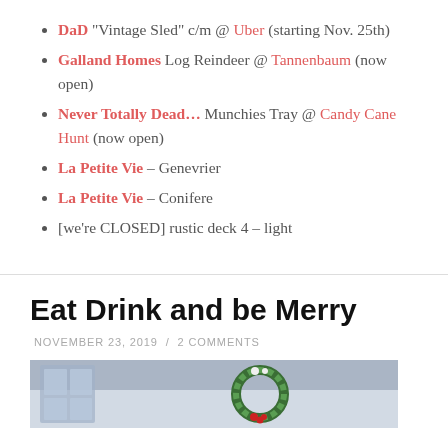DaD "Vintage Sled" c/m @ Uber (starting Nov. 25th)
Galland Homes Log Reindeer @ Tannenbaum (now open)
Never Totally Dead… Munchies Tray @ Candy Cane Hunt (now open)
La Petite Vie – Genevrier
La Petite Vie – Conifere
[we're CLOSED] rustic deck 4 – light
Eat Drink and be Merry
NOVEMBER 23, 2019 / 2 COMMENTS
[Figure (photo): Photo of holiday scene with wreath and blue windows in background]